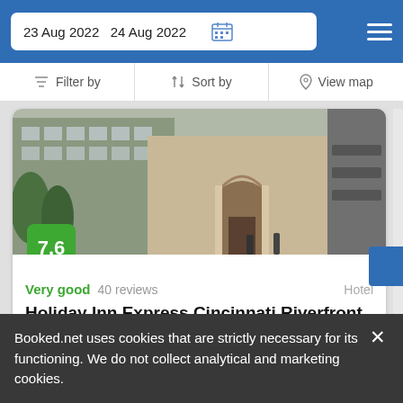23 Aug 2022  24 Aug 2022
Filter by  Sort by  View map
[Figure (photo): Hotel exterior photo showing building facade with arched entrance]
7.6
Very good  40 reviews  Hotel
Holiday Inn Express Cincinnati Riverfront
Covington, KY, United States
★ ★ ★
183$
Booked.net uses cookies that are strictly necessary for its functioning. We do not collect analytical and marketing cookies.